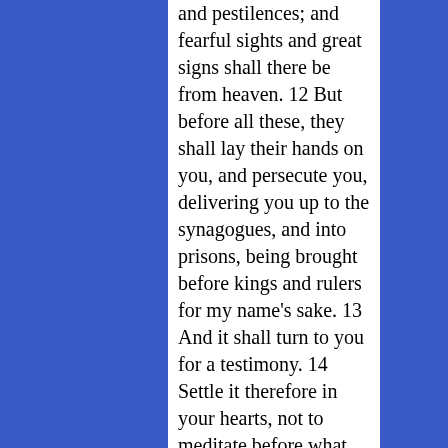and pestilences; and fearful sights and great signs shall there be from heaven. 12 But before all these, they shall lay their hands on you, and persecute you, delivering you up to the synagogues, and into prisons, being brought before kings and rulers for my name's sake. 13 And it shall turn to you for a testimony. 14 Settle it therefore in your hearts, not to meditate before what ye shall answer: 15 For I will